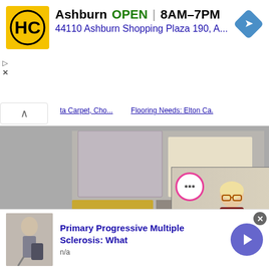[Figure (screenshot): Advertisement banner for Haircuts+ (HC) in Ashburn showing logo, OPEN status, hours 8AM-7PM, address 44110 Ashburn Shopping Plaza 190, A., and navigation icon]
[Figure (screenshot): Main content area showing knitting swatches and a video overlay with a woman named Heidi Gustad in a craft room with yarn and craft supplies. Video player controls visible with play button, prev/next arrows. Text 'Four Felte' link visible. BONUS label at bottom.]
[Figure (screenshot): Bottom advertisement for Primary Progressive Multiple Sclerosis: What, with n/a subtext, a photo of someone with a cane, and a forward arrow button]